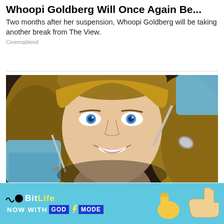Whoopi Goldberg Will Once Again Be...
Two months after her suspension, Whoopi Goldberg will be taking another break from The View.
Cinemablend
[Figure (photo): A smiling young woman with blue eyes and long blonde-brown hair at a dental appointment, with blue-gloved hands holding dental instruments near her mouth.]
...
[Figure (infographic): BitLife advertisement banner with light blue background. Shows BitLife logo with black dot and wavy line, yellow BitLIFE text, and 'NOW WITH GOD MODE' text with lightning bolt. Includes thumbs up emoji and pointing hand graphic on the right, with X close button and question mark button.]